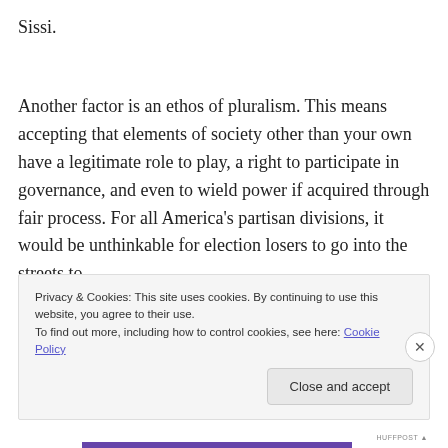Sissi.
Another factor is an ethos of pluralism. This means accepting that elements of society other than your own have a legitimate role to play, a right to participate in governance, and even to wield power if acquired through fair process. For all America’s partisan divisions, it would be unthinkable for election losers to go into the streets to
Privacy & Cookies: This site uses cookies. By continuing to use this website, you agree to their use.
To find out more, including how to control cookies, see here: Cookie Policy